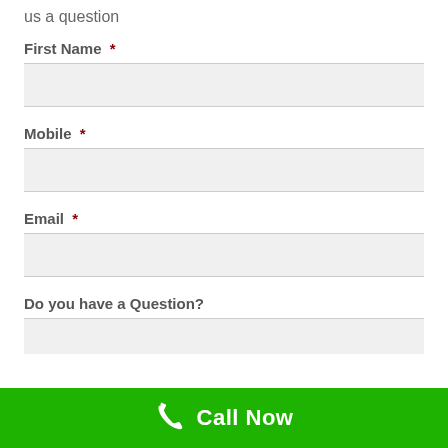us a question
First Name  *
Mobile  *
Email  *
Do you have a Question?
Call Now